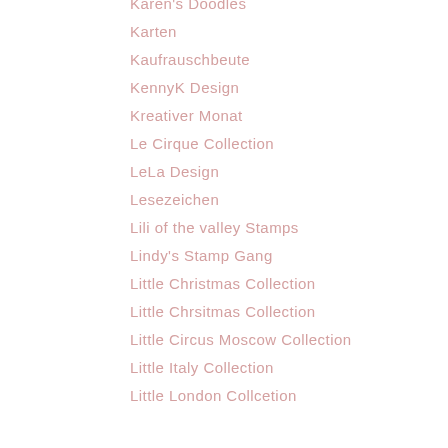Karen's Doodles
Karten
Kaufrauschbeute
KennyK Design
Kreativer Monat
Le Cirque Collection
LeLa Design
Lesezeichen
Lili of the valley Stamps
Lindy's Stamp Gang
Little Christmas Collection
Little Chrsitmas Collection
Little Circus Moscow Collection
Little Italy Collection
Little London Collcetion